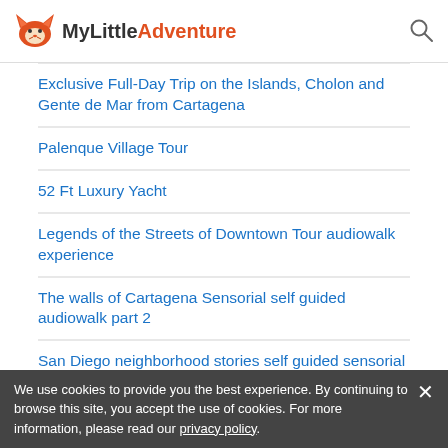MyLittleAdventure
Exclusive Full-Day Trip on the Islands, Cholon and Gente de Mar from Cartagena
Palenque Village Tour
52 Ft Luxury Yacht
Legends of the Streets of Downtown Tour audiowalk experience
The walls of Cartagena Sensorial self guided audiowalk part 2
San Diego neighborhood stories self guided sensorial audiowalk
Architectural Tour Sensorial Experience self guided Audiowalk
The Walls of Cartagena, Sensorial self guided audiowalk part 1
Cultural and Historical Tour of San Jacinto Bolivar
60 Ft Luxury Yacht
We use cookies to provide you the best experience. By continuing to browse this site, you accept the use of cookies. For more information, please read our privacy policy.